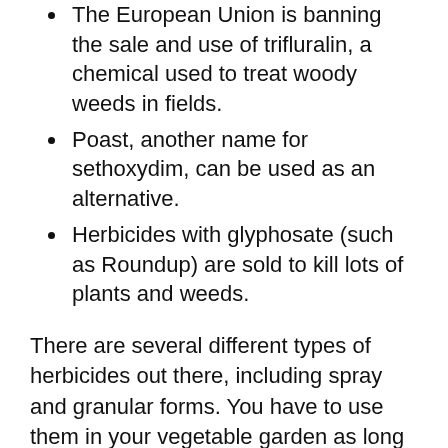The European Union is banning the sale and use of trifluralin, a chemical used to treat woody weeds in fields.
Poast, another name for sethoxydim, can be used as an alternative.
Herbicides with glyphosate (such as Roundup) are sold to kill lots of plants and weeds.
There are several different types of herbicides out there, including spray and granular forms. You have to use them in your vegetable garden as long as the label specially offers guidelines for it.
Decrease Open Space in Garden